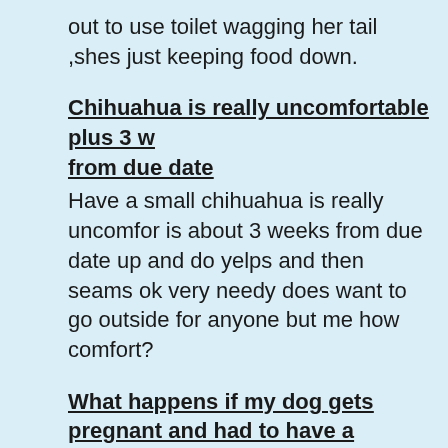out to use toilet wagging her tail ,shes just keeping food down.
Chihuahua is really uncomfortable plus 3 w from due date
Have a small chihuahua is really uncomfor is about 3 weeks from due date up and do yelps and then seams ok very needy does want to go outside for anyone but me how comfort?
What happens if my dog gets pregnant and had to have a Caesarean last time?
I think my dog may be pregnant she got ca by mistake she is a staffordshire bull terrie time she had a litter the first puppy got stu she needed a Caesarean, will this likely be